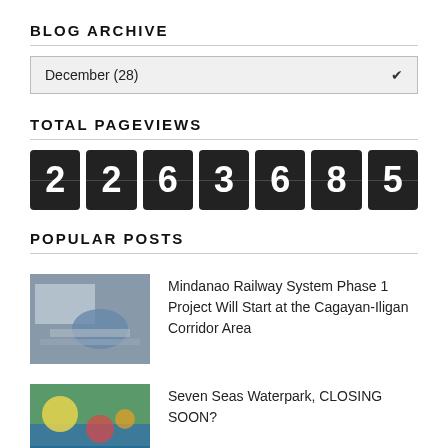BLOG ARCHIVE
December (28)
TOTAL PAGEVIEWS
[Figure (other): Flip counter showing the number 2263685]
POPULAR POSTS
Mindanao Railway System Phase 1 Project Will Start at the Cagayan-Iligan Corridor Area
Seven Seas Waterpark, CLOSING SOON?